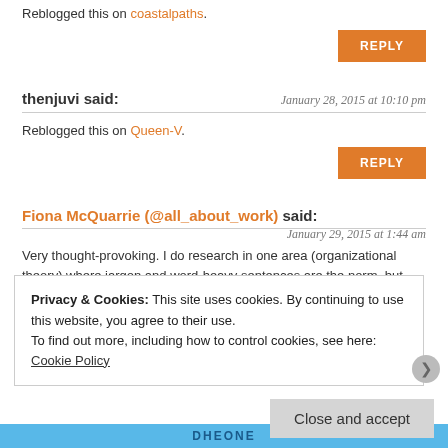Reblogged this on coastalpaths.
REPLY
thenjuvi said:
January 28, 2015 at 10:10 pm
Reblogged this on Queen-V.
REPLY
Fiona McQuarrie (@all_about_work) said:
January 29, 2015 at 1:44 am
Very thought-provoking. I do research in one area (organizational theory) where jargon and word-heavy sentences are the norm, but also in another (leisure
Privacy & Cookies: This site uses cookies. By continuing to use this website, you agree to their use.
To find out more, including how to control cookies, see here: Cookie Policy
Close and accept